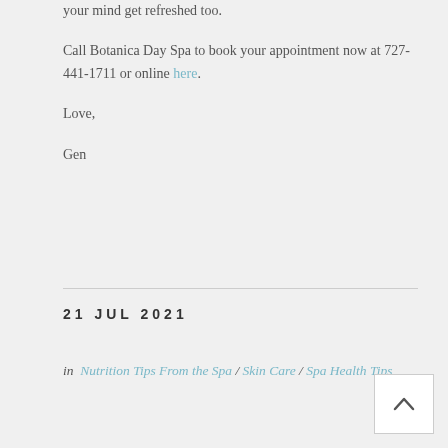your mind get refreshed too.

Call Botanica Day Spa to book your appointment now at 727-441-1711 or online here.

Love,

Gen
21 JUL 2021
in  Nutrition Tips From the Spa / Skin Care / Spa Health Tips